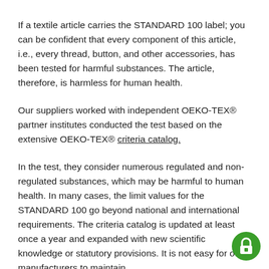If a textile article carries the STANDARD 100 label; you can be confident that every component of this article, i.e., every thread, button, and other accessories, has been tested for harmful substances. The article, therefore, is harmless for human health.
Our suppliers worked with independent OEKO-TEX® partner institutes conducted the test based on the extensive OEKO-TEX® criteria catalog.
In the test, they consider numerous regulated and non-regulated substances, which may be harmful to human health. In many cases, the limit values for the STANDARD 100 go beyond national and international requirements. The criteria catalog is updated at least once a year and expanded with new scientific knowledge or statutory provisions. It is not easy for our manufacturers to maintain
[Figure (logo): Green circular lock/security icon in bottom right corner]